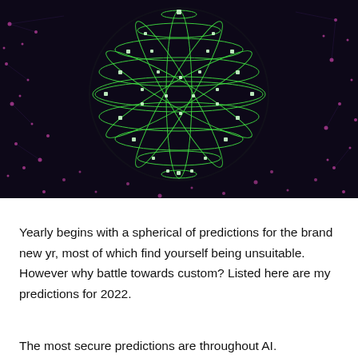[Figure (illustration): Dark background (deep navy/black) with a glowing green wireframe sphere made of intersecting curved lines with small white/green dots at intersections, surrounded by scattered pink/magenta star-like dots and faint purple connecting lines extending outward from the sphere.]
Yearly begins with a spherical of predictions for the brand new yr, most of which find yourself being unsuitable. However why battle towards custom? Listed here are my predictions for 2022.
The most secure predictions are throughout AI.